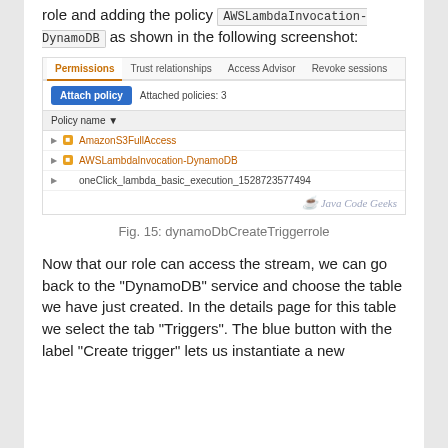role and adding the policy AWSLambdaInvocation-DynamoDB as shown in the following screenshot:
[Figure (screenshot): AWS IAM role permissions screenshot showing tabs: Permissions (active), Trust relationships, Access Advisor, Revoke sessions. An 'Attach policy' button with 'Attached policies: 3' label. A table with Policy name column listing: AmazonS3FullAccess, AWSLambdaInvocation-DynamoDB, oneClick_lambda_basic_execution_1528723577494. Java Code Geeks watermark.]
Fig. 15: dynamoDbCreateTriggerrole
Now that our role can access the stream, we can go back to the “DynamoDB” service and choose the table we have just created. In the details page for this table we select the tab “Triggers”. The blue button with the label “Create trigger” lets us instantiate a new